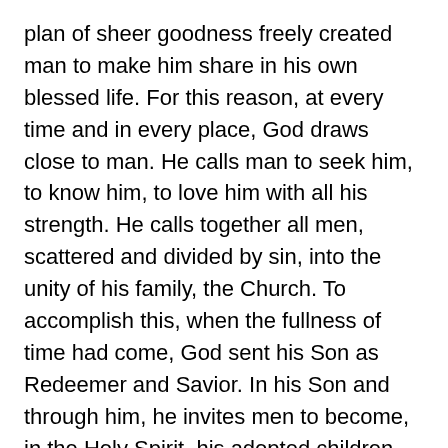plan of sheer goodness freely created man to make him share in his own blessed life. For this reason, at every time and in every place, God draws close to man. He calls man to seek him, to know him, to love him with all his strength. He calls together all men, scattered and divided by sin, into the unity of his family, the Church. To accomplish this, when the fullness of time had come, God sent his Son as Redeemer and Savior. In his Son and through him, he invites men to become, in the Holy Spirit, his adopted children and thus heirs of his blessed life (No. 1).
The Triune God is the source of family; the Three Divine Persons exchange perfect and eternal love